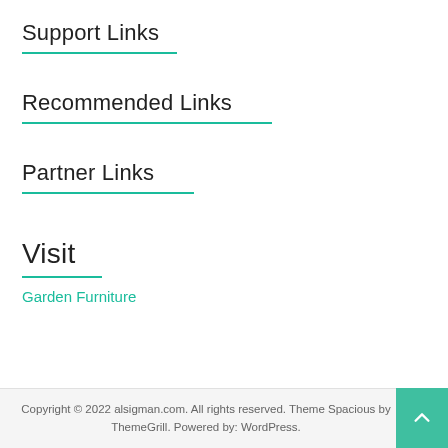Support Links
Recommended Links
Partner Links
Visit
Garden Furniture
Copyright © 2022 alsigman.com. All rights reserved. Theme Spacious by ThemeGrill. Powered by: WordPress.